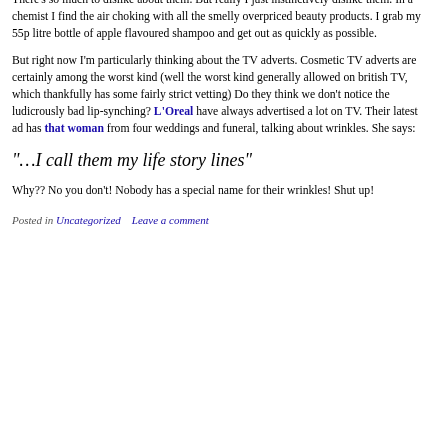I generally dislike pharmaceutical companies, especially cosmetics companies. I could pretend that I have strong ethical, ecological, political rational reasoning behind this. There's so much to dislike about them. But really I just instinctively dislike them. In a chemist I find the air choking with all the smelly overpriced beauty products. I grab my 55p litre bottle of apple flavoured shampoo and get out as quickly as possible.
But right now I'm particularly thinking about the TV adverts. Cosmetic TV adverts are certainly among the worst kind (well the worst kind generally allowed on british TV, which thankfully has some fairly strict vetting) Do they think we don't notice the ludicrously bad lip-synching? L'Oreal have always advertised a lot on TV. Their latest ad has that woman from four weddings and funeral, talking about wrinkles. She says:
“…I call them my life story lines”
Why?? No you don't! Nobody has a special name for their wrinkles! Shut up!
Posted in Uncategorized   Leave a comment